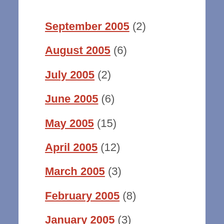September 2005 (2)
August 2005 (6)
July 2005 (2)
June 2005 (6)
May 2005 (15)
April 2005 (12)
March 2005 (3)
February 2005 (8)
January 2005 (3)
December 2004 (1)